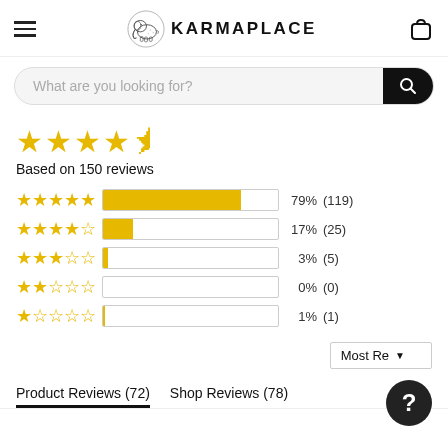KARMAPLACE
What are you looking for?
Based on 150 reviews
[Figure (bar-chart): Rating breakdown]
Most Recent
Product Reviews (72)   Shop Reviews (78)